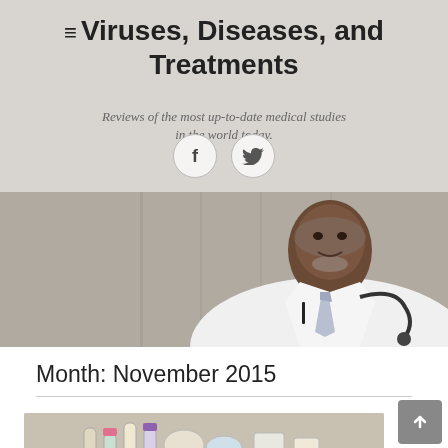≡ Viruses, Diseases, and Treatments
Reviews of the most up-to-date medical studies in the world today.
[Figure (photo): Social media icons: Facebook (f) and Twitter (bird) in circular bordered buttons]
[Figure (photo): Photo of a smiling male doctor wearing a white coat, tie, and stethoscope, standing outdoors against a stone building wall]
Month: November 2015
[Figure (photo): Photo of medical laboratory equipment including test tubes and lab supplies on a surface]